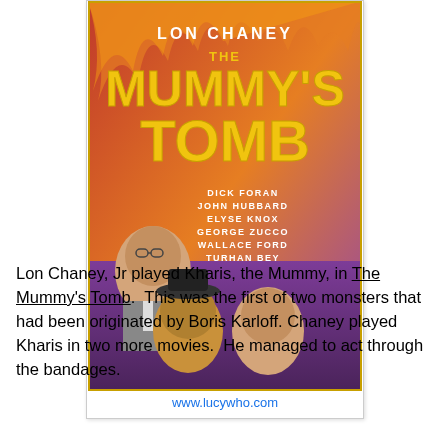[Figure (photo): Movie poster for 'The Mummy's Tomb' featuring Lon Chaney. Yellow text title on orange/red background with actor portraits. Cast listed: Dick Foran, John Hubbard, Elyse Knox, George Zucco, Wallace Ford, Turhan Bey. URL www.lucywho.com shown below poster.]
Lon Chaney, Jr played Kharis, the Mummy, in The Mummy's Tomb.  This was the first of two monsters that had been originated by Boris Karloff. Chaney played Kharis in two more movies.  He managed to act through the bandages.